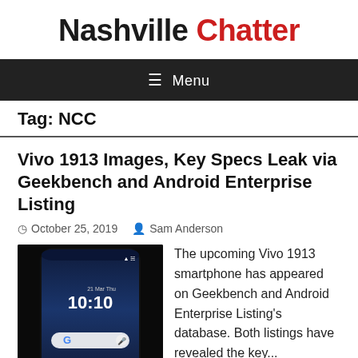Nashville Chatter
☰ Menu
Tag: NCC
Vivo 1913 Images, Key Specs Leak via Geekbench and Android Enterprise Listing
October 25, 2019  Sam Anderson
[Figure (photo): Vivo 1913 smartphone showing lock screen with time 10:10 and Google search bar on a dark background]
The upcoming Vivo 1913 smartphone has appeared on Geekbench and Android Enterprise Listing's database. Both listings have revealed the key...